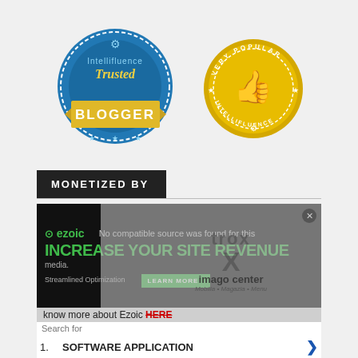[Figure (logo): Intellifluence Trusted Blogger badge - blue circular badge with gold ribbon banner saying BLOGGER]
[Figure (logo): Intellifluence Very Popular badge - gold circular badge with thumbs up icon]
MONETIZED BY
[Figure (screenshot): Ezoic advertisement banner - dark background with green text INCREASE YOUR SITE REVENUE, with overlay showing media player error: No compatible source was found for this media. Overlay shows trox, imago center logos.]
know more about Ezoic HERE
Search for
1. SOFTWARE APPLICATION
2. BEST PHOTO ALBUM
Yahoo! Search | Sponsored